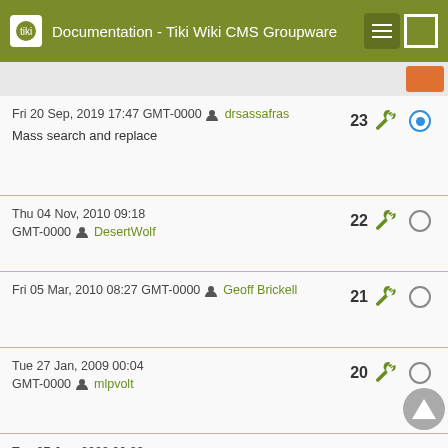Documentation - Tiki Wiki CMS Groupware
| Date/User | Version | Action | Select |
| --- | --- | --- | --- |
| Fri 20 Sep, 2019 17:47 GMT-0000 drsassafras
Mass search and replace | 23 | wrench | selected |
| Thu 04 Nov, 2010 09:18 GMT-0000 DesertWolf | 22 | wrench |  |
| Fri 05 Mar, 2010 08:27 GMT-0000 Geoff Brickell | 21 | wrench |  |
| Tue 27 Jan, 2009 00:04 GMT-0000 mlpvolt | 20 | wrench |  |
| Tue 27 Jan, 2009 00:03 GMT-0000 mlpvolt | 19 | wrench |  |